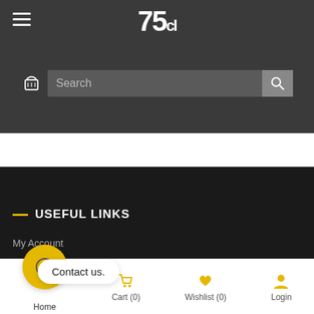Header with hamburger menu, logo, search bar
USEFUL LINKS
My Account
Order Tracking
FAQS
Terms & Conditions
Contact us.
Home | Cart (0) | Wishlist (0) | Login